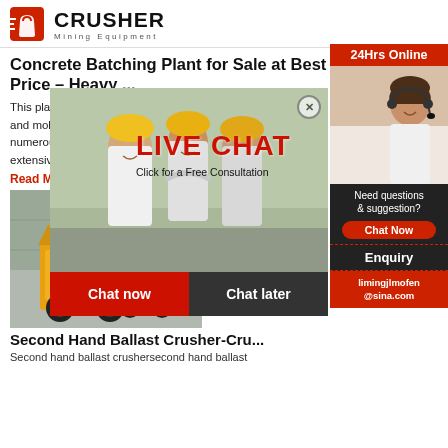[Figure (logo): Crusher Mining Equipment logo with red shopping bag icon and bold CRUSHER text]
Concrete Batching Plant for Sale at Best Price - Heavy ...
This plant generally, divides into stationary concrete plants and mobile concrete plants. This is a fundamental having numerous m... majority of ... secluded an... extensive s...
Read More
[Figure (photo): Yellow industrial crusher machine in a factory setting]
Second Hand Ballast Crusher-Cru...
Second hand ballast crushersecond hand ballast
[Figure (photo): Live Chat popup overlay showing workers in hard hats and a customer service representative with headset. Contains LIVE CHAT text, Chat now and Chat later buttons.]
[Figure (infographic): Right sidebar: 24Hrs Online label, customer service photo, Need questions & suggestion? text, Chat Now button, Enquiry section, limingjlmofen@sina.com email]